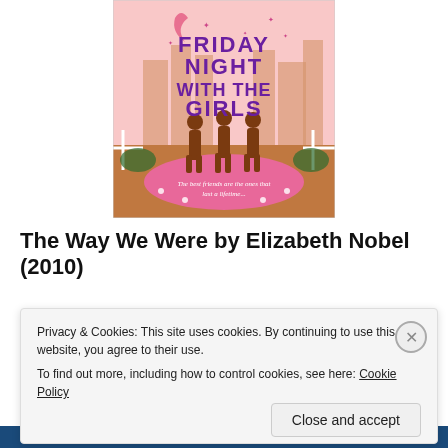[Figure (illustration): Book cover for 'Friday Night With the Girls' showing silhouettes of three women on a pink carpet against a city skyline background, with decorative stars and a crescent moon, and the tagline 'The best friends are the ones that last a lifetime...']
The Way We Were by Elizabeth Nobel (2010)
Privacy & Cookies: This site uses cookies. By continuing to use this website, you agree to their use.
To find out more, including how to control cookies, see here: Cookie Policy